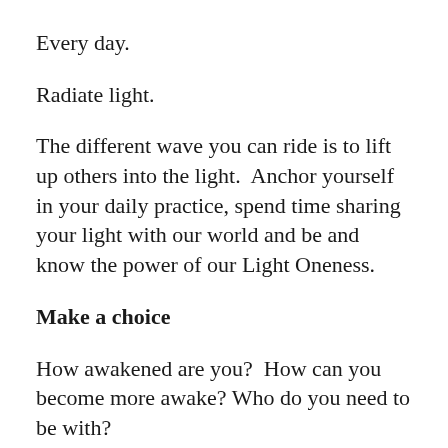Every day.
Radiate light.
The different wave you can ride is to lift up others into the light.  Anchor yourself in your daily practice, spend time sharing your light with our world and be and know the power of our Light Oneness.
Make a choice
How awakened are you?  How can you become more awake? Who do you need to be with?